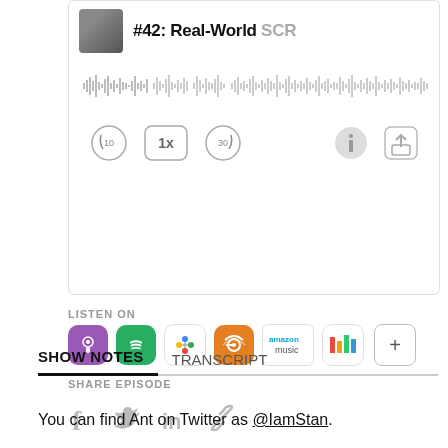[Figure (screenshot): Podcast player UI showing episode #42: Real-World title, waveform audio scrubber, and playback controls (rewind 10, speed 1x, forward 30, info, share)]
LISTEN ON
[Figure (infographic): Row of podcast platform icons: Apple Podcasts (purple), Spotify (green), Google Podcasts (colorful dots), Overcast (orange), Amazon Music (blue text), Chartable (colored bars), and a + more button]
SHARE EPISODE
[Figure (infographic): Social share icons: Facebook (f), Twitter (bird), LinkedIn (in), chain link]
SHOW NOTES   TRANSCRIPT
You can find Ant on Twitter as @IamStan.